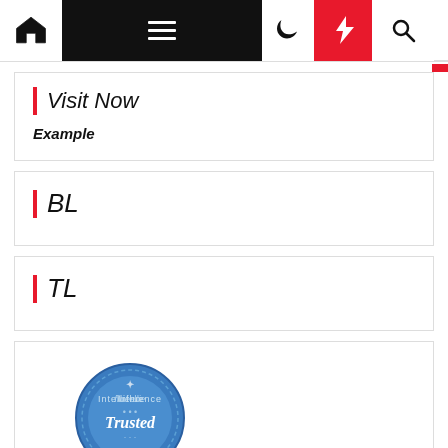[Figure (screenshot): Website navigation bar with home icon, hamburger menu on black background, moon icon, red lightning bolt button, and search icon]
Visit Now
Example
BL
TL
[Figure (logo): Intellifluence Trusted Blogger badge - circular blue badge with gold ribbon banner reading BLOGGER]